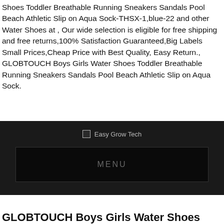Shoes Toddler Breathable Running Sneakers Sandals Pool Beach Athletic Slip on Aqua Sock-THSX-1,blue-22 and other Water Shoes at , Our wide selection is eligible for free shipping and free returns,100% Satisfaction Guaranteed,Big Labels Small Prices,Cheap Price with Best Quality, Easy Return., GLOBTOUCH Boys Girls Water Shoes Toddler Breathable Running Sneakers Sandals Pool Beach Athletic Slip on Aqua Sock.
[Figure (logo): Easy Grow Tech logo on dark background]
MENU
GLOBTOUCH Boys Girls Water Shoes